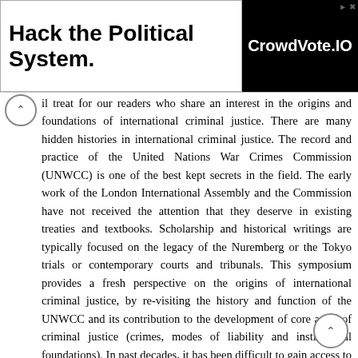[Figure (other): Advertisement banner: 'Hack the Political System.' on white background left side, 'CrowdVote.IO' on black background right side]
il treat for our readers who share an interest in the origins and foundations of international criminal justice. There are many hidden histories in international criminal justice. The record and practice of the United Nations War Crimes Commission (UNWCC) is one of the best kept secrets in the field. The early work of the London International Assembly and the Commission have not received the attention that they deserve in existing treaties and textbooks. Scholarship and historical writings are typically focused on the legacy of the Nuremberg or the Tokyo trials or contemporary courts and tribunals. This symposium provides a fresh perspective on the origins of international criminal justice, by re-visiting the history and function of the UNWCC and its contribution to the development of core areas of criminal justice (crimes, modes of liability and institutional foundations). In past decades, it has been difficult to gain access to a complete record of the archives of the Commission. Research had to rely on the published official history of the Commission 3 or